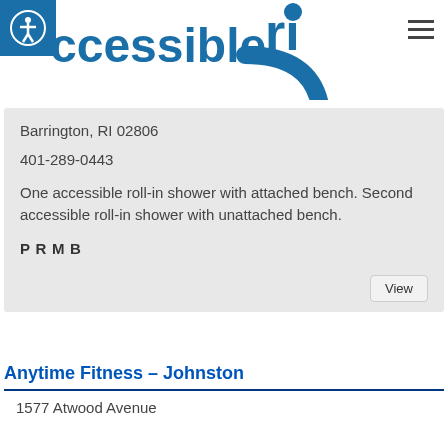[Figure (logo): Accessible RI logo with accessibility icon and blue circular design]
Barrington, RI 02806
401-289-0443
One accessible roll-in shower with attached bench. Second accessible roll-in shower with unattached bench.
P R M B
View
Anytime Fitness – Johnston
1577 Atwood Avenue